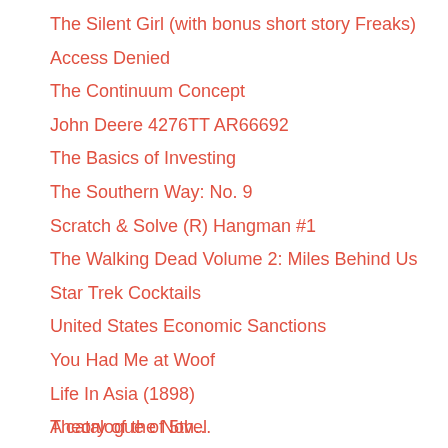The Silent Girl (with bonus short story Freaks)
Access Denied
The Continuum Concept
John Deere 4276TT AR66692
The Basics of Investing
The Southern Way: No. 9
Scratch & Solve (R) Hangman #1
The Walking Dead Volume 2: Miles Behind Us
Star Trek Cocktails
United States Economic Sanctions
You Had Me at Woof
Life In Asia (1898)
Theory of the Novel
A catalogue of 5th... (partial)